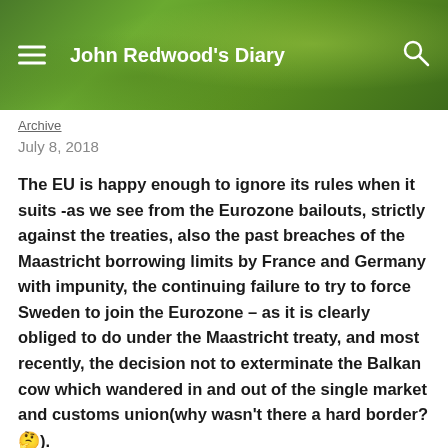John Redwood's Diary
Archive
July 8, 2018
The EU is happy enough to ignore its rules when it suits -as we see from the Eurozone bailouts, strictly against the treaties, also the past breaches of the Maastricht borrowing limits by France and Germany with impunity, the continuing failure to try to force Sweden to join the Eurozone – as it is clearly obliged to do under the Maastricht treaty, and most recently, the decision not to exterminate the Balkan cow which wandered in and out of the single market and customs union(why wasn't there a hard border?🤔).
Many countries around the world survive and prosper without being in the EU, they trade with the EU and their citizens even travel to and from EU countries without hindrance. Why not the UK?